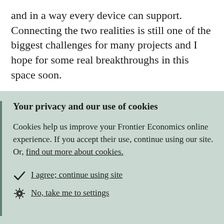and in a way every device can support. Connecting the two realities is still one of the biggest challenges for many projects and I hope for some real breakthroughs in this space soon.
Your privacy and our use of cookies
Cookies help us improve your Frontier Economics online experience. If you accept their use, continue using our site. Or, find out more about cookies.
✓ I agree; continue using site
⚙ No, take me to settings